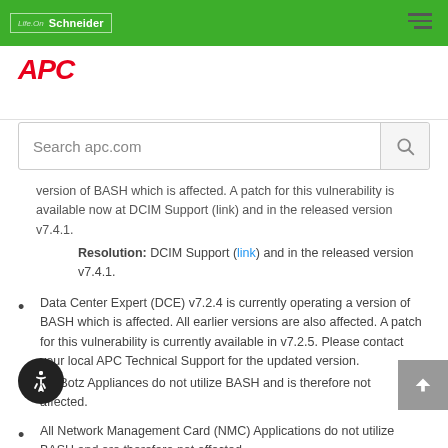Schneider Electric / APC header with logo and navigation
version of BASH which is affected. A patch for this vulnerability is available now at DCIM Support (link) and in the released version v7.4.1.
Resolution: DCIM Support (link) and in the released version v7.4.1.
Data Center Expert (DCE) v7.2.4 is currently operating a version of BASH which is affected. All earlier versions are also affected. A patch for this vulnerability is currently available in v7.2.5. Please contact your local APC Technical Support for the updated version.
NetBotz Appliances do not utilize BASH and is therefore not affected.
All Network Management Card (NMC) Applications do not utilize BASH and are therefore not affected.